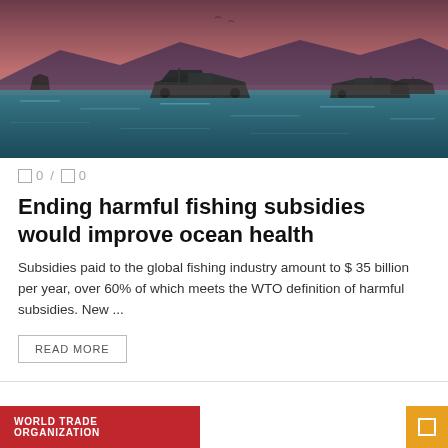[Figure (photo): Fishing boats on the ocean at dusk/twilight with mountains in the background. Dark blue-teal water, several wooden fishing vessels, pink-orange sky.]
0 / 0
Ending harmful fishing subsidies would improve ocean health
Subsidies paid to the global fishing industry amount to $ 35 billion per year, over 60% of which meets the WTO definition of harmful subsidies. New ...
READ MORE
WORLD TRADE ORGANIZATION